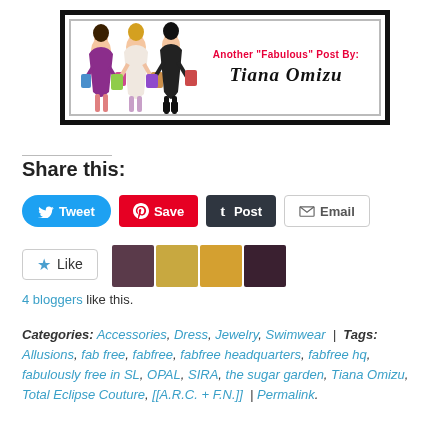[Figure (illustration): A branded blog banner with black outer border and gray inner border. Left side shows three illustrated fashion women carrying shopping bags. Right side has red text 'Another "Fabulous" Post By:' and cursive author name 'Tiana Omizu'.]
Share this:
[Figure (infographic): Social sharing buttons: Tweet (blue), Save (red Pinterest), Post (dark Tumblr), Email (gray outline)]
[Figure (infographic): Like button with star icon and 4 blogger avatar thumbnails]
4 bloggers like this.
Categories: Accessories, Dress, Jewelry, Swimwear | Tags: Allusions, fab free, fabfree, fabfree headquarters, fabfree hq, fabulously free in SL, OPAL, SIRA, the sugar garden, Tiana Omizu, Total Eclipse Couture, [[A.R.C. + F.N.]] | Permalink.